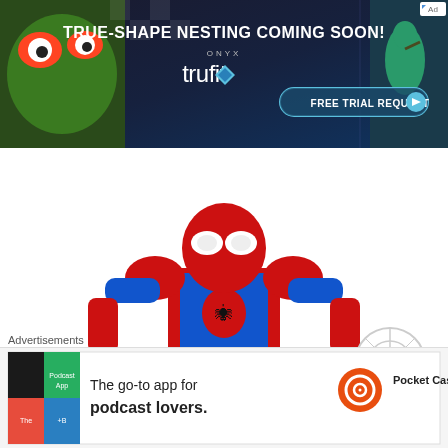[Figure (screenshot): Top banner advertisement for ONYX trufit software with headline TRUE-SHAPE NESTING COMING SOON! and FREE TRIAL REQUEST button, featuring frog and hummingbird images on sides]
[Figure (photo): LEGO Spider-Man mech figure in red and blue armor suit holding web-shooters and spider-web accessories on white background]
Advertisements
[Figure (screenshot): Bottom advertisement for Pocket Casts app: The go-to app for podcast lovers, with Pocket Casts logo]